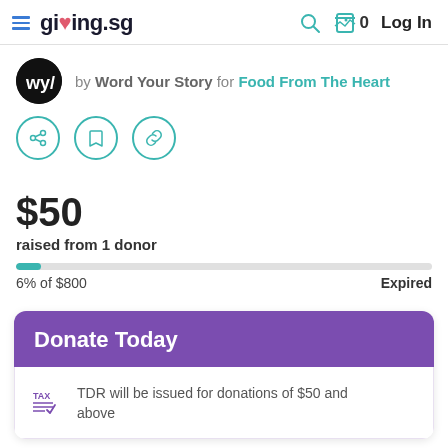giving.sg — Log In
by Word Your Story for Food From The Heart
[Figure (other): Share, bookmark, and link icons in teal circles]
$50
raised from 1 donor
6% of $800   Expired
Donate Today
TDR will be issued for donations of $50 and above